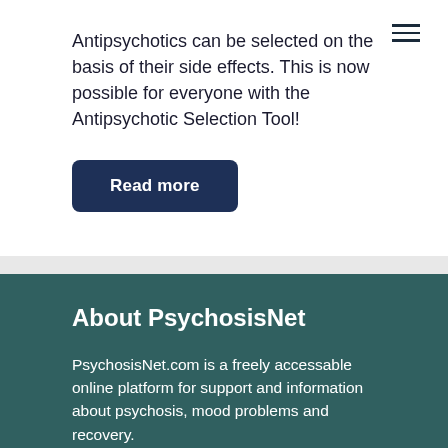Antipsychotics can be selected on the basis of their side effects. This is now possible for everyone with the Antipsychotic Selection Tool!
Read more
About PsychosisNet
PsychosisNet.com is a freely accessable online platform for support and information about psychosis, mood problems and recovery.
PsychosisNet is an initiative of the Dutch NGO PsychoseNet, run by people with lived experience and professionals.